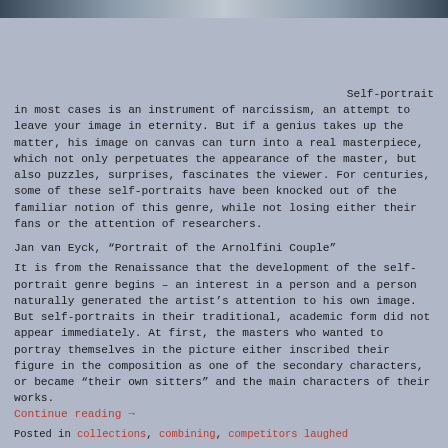[Figure (photo): Top banner image strip showing a blurred or stylized photograph, dark tones on edges with lighter center]
Self-portrait in most cases is an instrument of narcissism, an attempt to leave your image in eternity. But if a genius takes up the matter, his image on canvas can turn into a real masterpiece, which not only perpetuates the appearance of the master, but also puzzles, surprises, fascinates the viewer. For centuries, some of these self-portraits have been knocked out of the familiar notion of this genre, while not losing either their fans or the attention of researchers.
Jan van Eyck, “Portrait of the Arnolfini Couple”
It is from the Renaissance that the development of the self-portrait genre begins – an interest in a person and a person naturally generated the artist’s attention to his own image. But self-portraits in their traditional, academic form did not appear immediately. At first, the masters who wanted to portray themselves in the picture either inscribed their figure in the composition as one of the secondary characters, or became “their own sitters” and the main characters of their works.
Continue reading →
Posted in collections, combining, competitors laughed